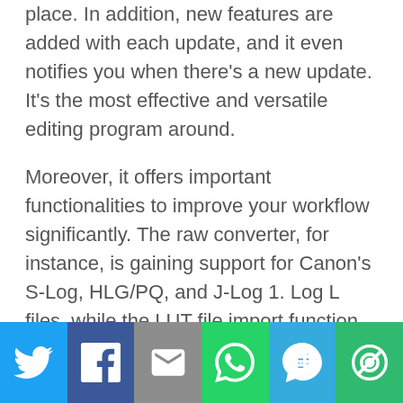place. In addition, new features are added with each update, and it even notifies you when there's a new update. It's the most effective and versatile editing program around.
Moreover, it offers important functionalities to improve your workflow significantly. The raw converter, for instance, is gaining support for Canon's S-Log, HLG/PQ, and J-Log 1. Log L files, while the LUT file import function promises better integration with external recorders, something that can prove very handy in surveillance systems.
[Figure (infographic): Social share bar with six buttons: Twitter (blue), Facebook (dark blue), Email (gray), WhatsApp (green), SMS (light blue), More/options (green)]